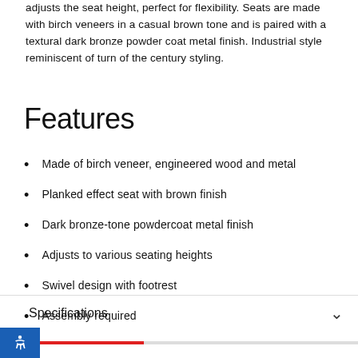adjusts the seat height, perfect for flexibility. Seats are made with birch veneers in a casual brown tone and is paired with a textural dark bronze powder coat metal finish. Industrial style reminiscent of turn of the century styling.
Features
Made of birch veneer, engineered wood and metal
Planked effect seat with brown finish
Dark bronze-tone powdercoat metal finish
Adjusts to various seating heights
Swivel design with footrest
Assembly required
Specifications